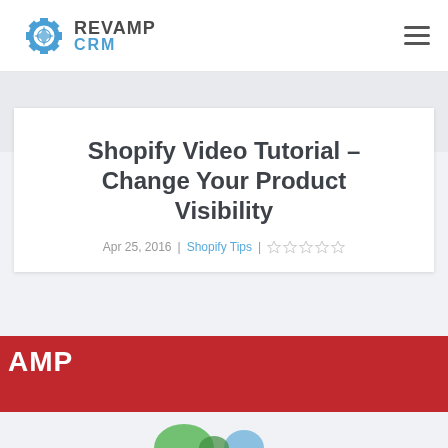Revamp CRM
Shopify Video Tutorial – Change Your Product Visibility
Apr 25, 2016 | Shopify Tips |
[Figure (screenshot): Red video thumbnail background with white REVAMP CRM logo text partially visible. Shows 'AMP' text in white on red background. Bottom of page shows partial green graphic on light gray background.]